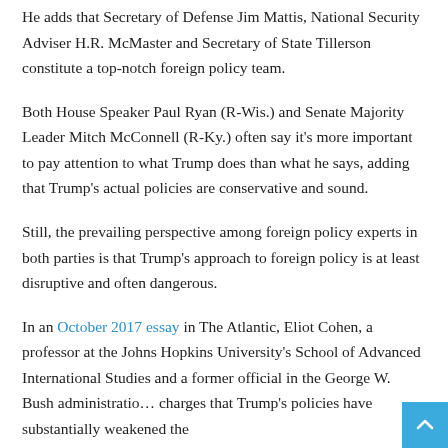He adds that Secretary of Defense Jim Mattis, National Security Adviser H.R. McMaster and Secretary of State Tillerson constitute a top-notch foreign policy team.
Both House Speaker Paul Ryan (R-Wis.) and Senate Majority Leader Mitch McConnell (R-Ky.) often say it's more important to pay attention to what Trump does than what he says, adding that Trump's actual policies are conservative and sound.
Still, the prevailing perspective among foreign policy experts in both parties is that Trump's approach to foreign policy is at least disruptive and often dangerous.
In an October 2017 essay in The Atlantic, Eliot Cohen, a professor at the Johns Hopkins University's School of Advanced International Studies and a former official in the George W. Bush administration charges that Trump's policies have substantially weakened the